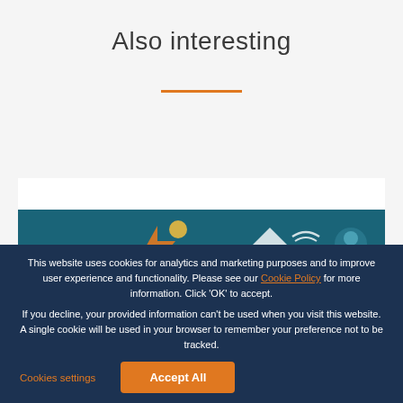Also interesting
[Figure (screenshot): Partial website screenshot showing teal card with icons]
This website uses cookies for analytics and marketing purposes and to improve user experience and functionality. Please see our Cookie Policy for more information. Click ‘OK’ to accept.

If you decline, your provided information can’t be used when you visit this website. A single cookie will be used in your browser to remember your preference not to be tracked.
Cookies settings
Accept All